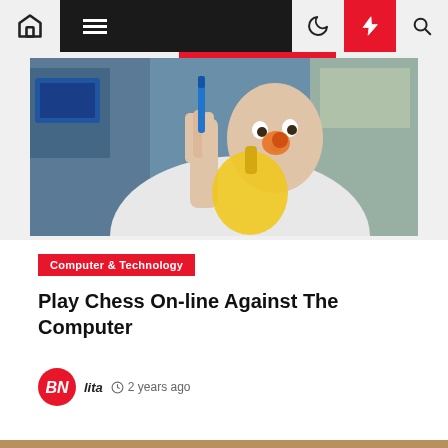Navigation bar with home, menu, dark mode, flash, and search icons
[Figure (photo): A man in a white sweatshirt holding a yellow flask or balloon up to his nose/mouth in what appears to be a lab setting, with blue equipment visible in the background]
Computer & Technology
Play Chess On-line Against The Computer
lita  2 years ago